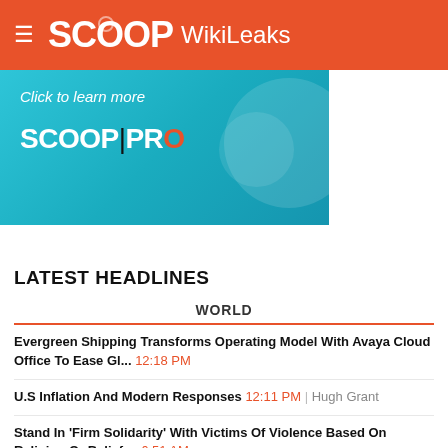SCOOP WikiLeaks
[Figure (other): Scoop Pro advertisement banner with teal/blue gradient background, text 'Click to learn more' and 'SCOOP | PRO' logo]
LATEST HEADLINES
WORLD
Evergreen Shipping Transforms Operating Model With Avaya Cloud Office To Ease Gl... 12:18 PM
U.S Inflation And Modern Responses 12:11 PM | Hugh Grant
Stand In 'Firm Solidarity' With Victims Of Violence Based On Religion Or Belief,... 6:51 AM
Nearly 1,000 Children Killed Or Injured In Ukraine But Real Number Likely Higher... 6:50 AM
Comment By UN High Commissioner For Human Rights Michelle Bachelet